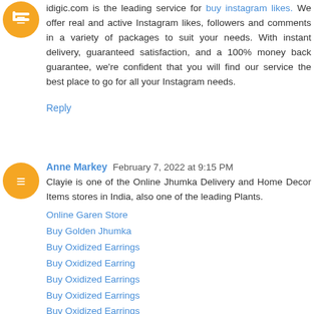idigic.com is the leading service for buy instagram likes. We offer real and active Instagram likes, followers and comments in a variety of packages to suit your needs. With instant delivery, guaranteed satisfaction, and a 100% money back guarantee, we're confident that you will find our service the best place to go for all your Instagram needs.
Reply
Anne Markey  February 7, 2022 at 9:15 PM
Clayie is one of the Online Jhumka Delivery and Home Decor Items stores in India, also one of the leading Plants.
Online Garen Store
Buy Golden Jhumka
Buy Oxidized Earrings
Buy Oxidized Earring
Buy Oxidized Earrings
Buy Oxidized Earrings
Buy Oxidized Earrings